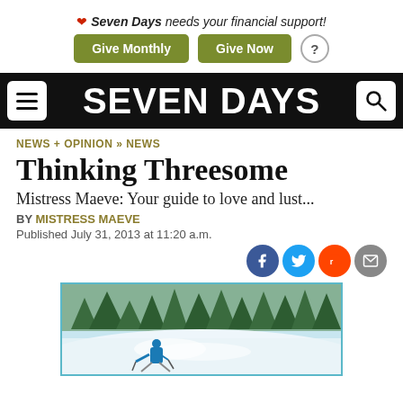❤ Seven Days needs your financial support!
Give Monthly   Give Now   ?
SEVEN DAYS
NEWS + OPINION » NEWS
Thinking Threesome
Mistress Maeve: Your guide to love and lust...
BY MISTRESS MAEVE
Published July 31, 2013 at 11:20 a.m.
[Figure (photo): A skier in a blue jacket skiing downhill through powder snow with snow-covered trees in the background.]